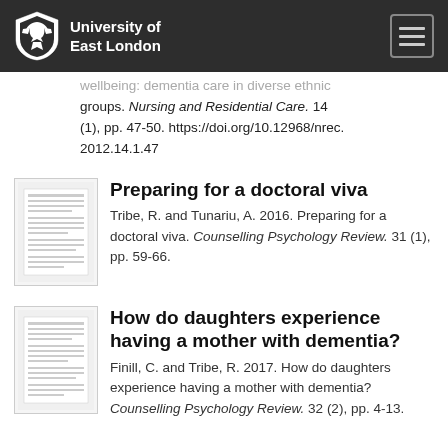University of East London
wellbeing: dementia care in diverse ethnic groups. Nursing and Residential Care. 14 (1), pp. 47-50. https://doi.org/10.12968/nrec.2012.14.1.47
Preparing for a doctoral viva
Tribe, R. and Tunariu, A. 2016. Preparing for a doctoral viva. Counselling Psychology Review. 31 (1), pp. 59-66.
How do daughters experience having a mother with dementia?
Finill, C. and Tribe, R. 2017. How do daughters experience having a mother with dementia? Counselling Psychology Review. 32 (2), pp. 4-13.